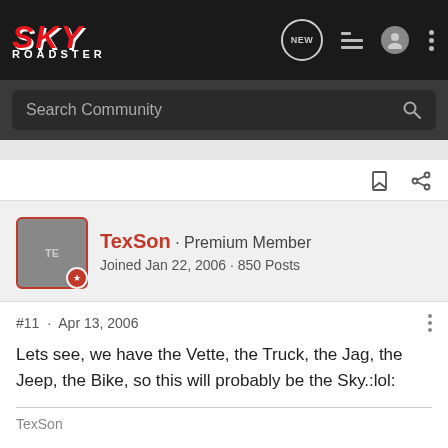SKY ROADSTER - navigation bar
Search Community
TexSon · Premium Member
Joined Jan 22, 2006 · 850 Posts
#11 · Apr 13, 2006
Lets see, we have the Vette, the Truck, the Jag, the Jeep, the Bike, so this will probably be the Sky.:lol:
TexSon